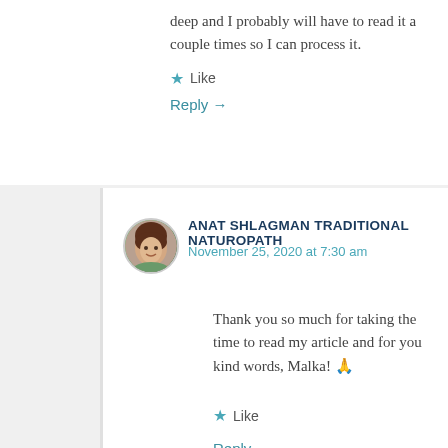deep and I probably will have to read it a couple times so I can process it.
★ Like
Reply →
[Figure (photo): Circular avatar photo of Anat Shlagman, a woman with dark hair]
ANAT SHLAGMAN TRADITIONAL NATUROPATH
November 25, 2020 at 7:30 am
Thank you so much for taking the time to read my article and for you kind words, Malka! 🙏
★ Like
Reply →